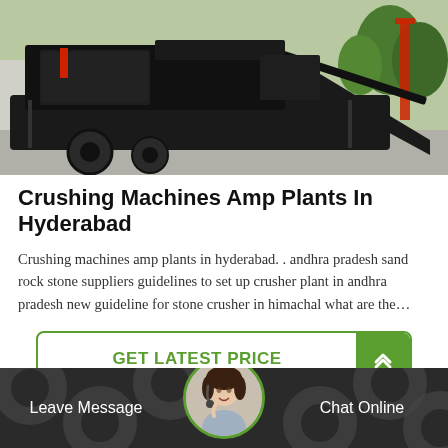[Figure (photo): Black mobile crushing machine/plant on a paved surface outdoors, with trees and a red structure visible in background.]
Crushing Machines Amp Plants In Hyderabad
Crushing machines amp plants in hyderabad. . andhra pradesh sand rock stone suppliers guidelines to set up crusher plant in andhra pradesh new guideline for stone crusher in himachal what are the…
GET LATEST PRICE
[Figure (photo): Bottom bar with dark background showing circles/pipes pattern, with Leave Message on left, a circular avatar of a customer service woman in center, and Chat Online on right.]